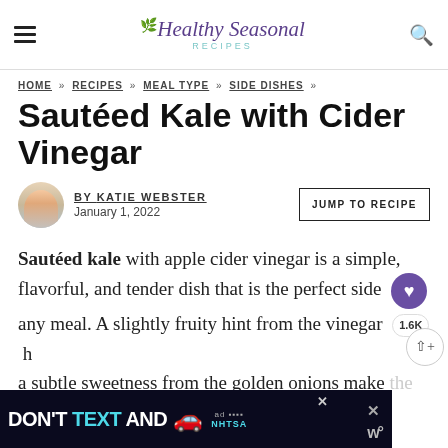Healthy Seasonal Recipes
HOME » RECIPES » MEAL TYPE » SIDE DISHES »
Sautéed Kale with Cider Vinegar
by KATIE WEBSTER
January 1, 2022
JUMP TO RECIPE
Sautéed kale with apple cider vinegar is a simple, flavorful, and tender dish that is the perfect side for any meal. A slightly fruity hint from the vinegar and a subtle sweetness from the golden onions make the gr…
[Figure (screenshot): Advertisement banner: 'DON'T TEXT AND [car emoji] ad NHTSA' with close buttons and a share widget showing 1.6K]